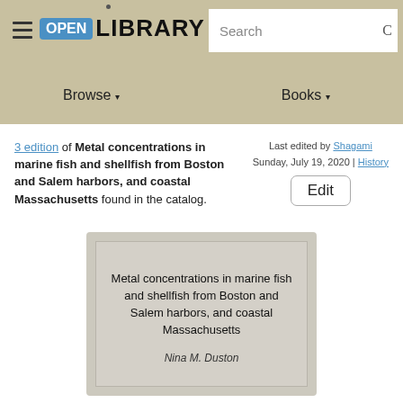Open Library — Browse | Books | Search
3 edition of Metal concentrations in marine fish and shellfish from Boston and Salem harbors, and coastal Massachusetts found in the catalog. Last edited by Shagami Sunday, July 19, 2020 | History
[Figure (other): Book cover card showing title 'Metal concentrations in marine fish and shellfish from Boston and Salem harbors, and coastal Massachusetts' by Nina M. Duston]